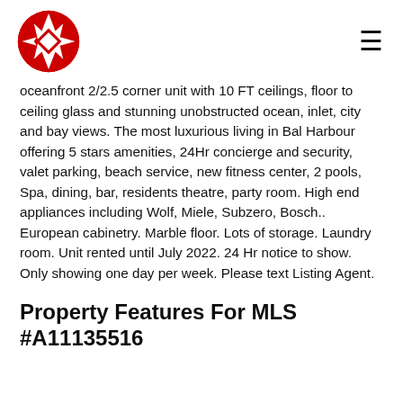[Logo: Maltese Cross red and white] [Hamburger menu icon]
oceanfront 2/2.5 corner unit with 10 FT ceilings, floor to ceiling glass and stunning unobstructed ocean, inlet, city and bay views. The most luxurious living in Bal Harbour offering 5 stars amenities, 24Hr concierge and security, valet parking, beach service, new fitness center, 2 pools, Spa, dining, bar, residents theatre, party room. High end appliances including Wolf, Miele, Subzero, Bosch.. European cabinetry. Marble floor. Lots of storage. Laundry room. Unit rented until July 2022. 24 Hr notice to show. Only showing one day per week. Please text Listing Agent.
Property Features For MLS #A11135516